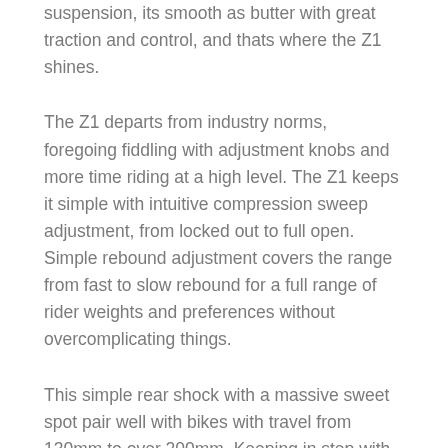suspension, its smooth as butter with great traction and control, and thats where the Z1 shines.
The Z1 departs from industry norms, foregoing fiddling with adjustment knobs and more time riding at a high level. The Z1 keeps it simple with intuitive compression sweep adjustment, from locked out to full open. Simple rebound adjustment covers the range from fast to slow rebound for a full range of rider weights and preferences without overcomplicating things.
This simple rear shock with a massive sweet spot pair well with bikes with travel from 130mm to over 200mm. Keeping in step with Marzocchis founding philosophies, this new rear shock prioritizes suspension performance, ride quality and durability. Simply set your sag and rebound, and go ride.
And as of January 2020, the Z1 is now available in a coil version and all older Z1 forks can be upgraded to a